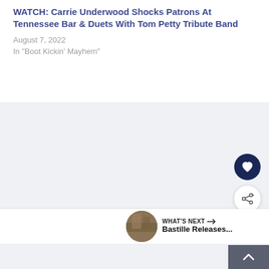WATCH: Carrie Underwood Shocks Patrons At Tennessee Bar & Duets With Tom Petty Tribute Band
August 7, 2022
In "Boot Kickin' Mayhem"
[Figure (other): Dark navy circular heart/like button icon]
[Figure (other): White circular share button icon with share/add symbol]
WHAT'S NEXT → Bastille Releases...
[Figure (other): Back to top button with upward chevron arrow]